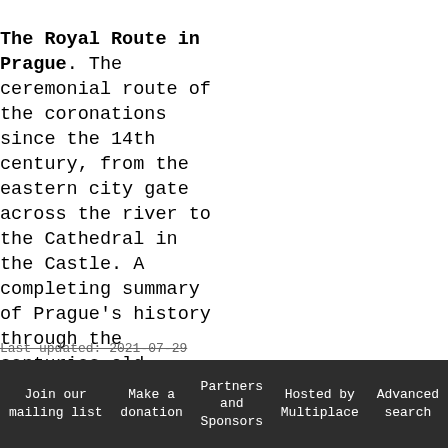The Royal Route in Prague. The ceremonial route of the coronations since the 14th century, from the eastern city gate across the river to the Cathedral in the Castle. A completing summary of Prague's history through the centuries-old monuments strung along the route.
Last updated: 2021-07-29
Join our mailing list  Make a donation  Partners and Sponsors  Hosted by Multiplace  Advanced search